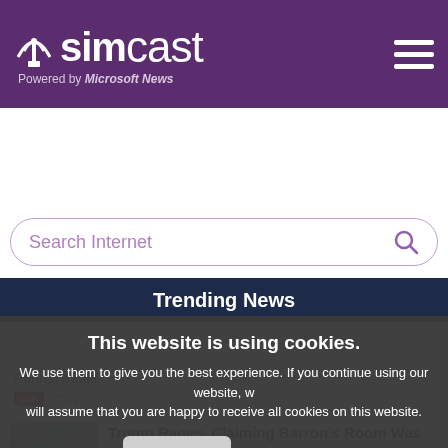simcast — Powered by Microsoft News
[Figure (screenshot): Search Internet search box with magnifying glass icon]
Trending News
This website is using cookies. We use them to give you the best experience. If you continue using our website, we will assume that you are happy to receive all cookies on this website.
Continue | Learn more
Pennsylvania.
CNN
Trump Rages, Claiming Barron's Room Was Subjected to a 'Deep and Ugly'